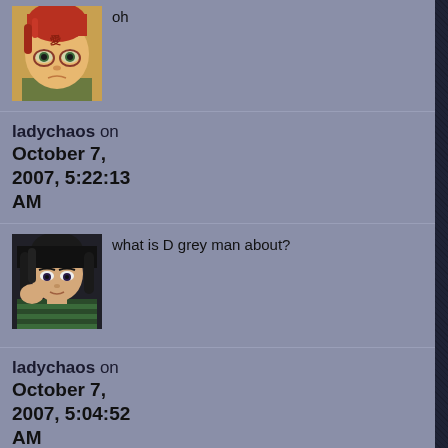oh
ladychaos on October 7, 2007, 5:22:13 AM
what is D grey man about?
ladychaos on October 7, 2007, 5:04:52 AM
yeah, it's hard not to, inuyasha is cool